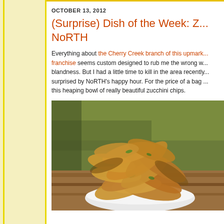OCTOBER 13, 2012
(Surprise) Dish of the Week: Z... NoRTH
Everything about the Cherry Creek branch of this upmarket franchise seems custom designed to rub me the wrong w... blandness. But I had a little time to kill in the area recently... surprised by NoRTH's happy hour. For the price of a bag ... this heaping bowl of really beautiful zucchini chips.
[Figure (photo): A heaping bowl of golden-brown fried zucchini chips served in a white bowl on a wooden table, with green background]